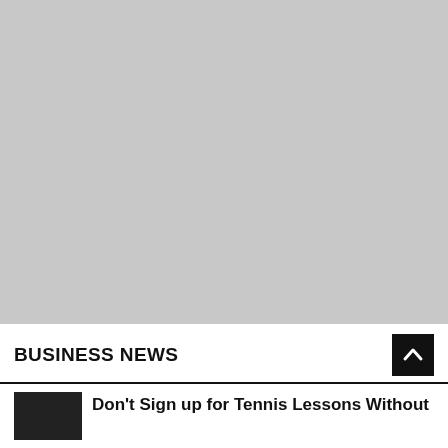[Figure (other): Large grey placeholder area filling the upper portion of the page]
BUSINESS NEWS
Don't Sign up for Tennis Lessons Without